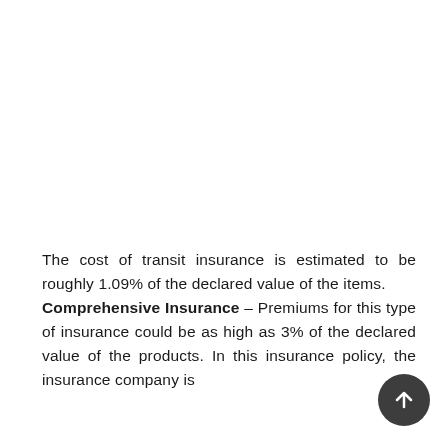The cost of transit insurance is estimated to be roughly 1.09% of the declared value of the items. Comprehensive Insurance – Premiums for this type of insurance could be as high as 3% of the declared value of the products. In this insurance policy, the insurance company is